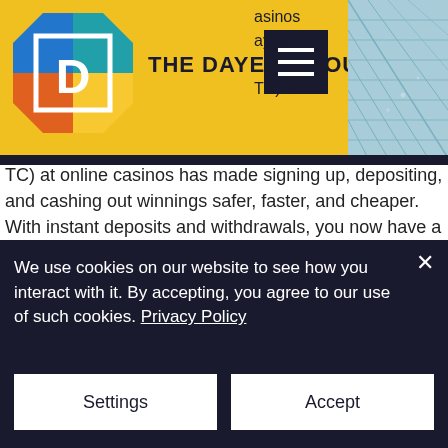[Figure (logo): The Dayen Group logo - octagonal shape with letter D, colored segments (blue, orange, yellow, teal)]
THE DAYEN GROUP
[Figure (photo): Partial photo of glass building structure, teal/blue tones, visible in top right corner]
asinos ay to TC) at online casinos has made signing up, depositing, and cashing out winnings safer, faster, and cheaper. With instant deposits and withdrawals, you now have a feeling of confidence and control at crypto casinos that has never been imaginable. Since Bitcoin is a decentralized and transparent payment network, you can track your payment like a package tracking number. Deposit methods 2020 – btc eth ltc dog usdt,
We use cookies on our website to see how you interact with it. By accepting, you agree to our use of such cookies. Privacy Policy
Settings
Accept